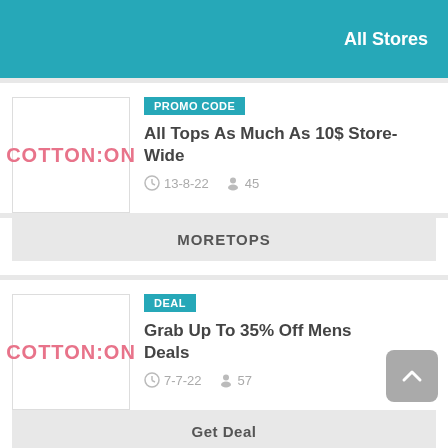All Stores
[Figure (logo): Cotton:On brand logo in pink/red text]
PROMO CODE
All Tops As Much As 10$ Store-Wide
13-8-22   45
MORETOPS
[Figure (logo): Cotton:On brand logo in pink/red text]
DEAL
Grab Up To 35% Off Mens Deals
7-7-22   57
Get Deal